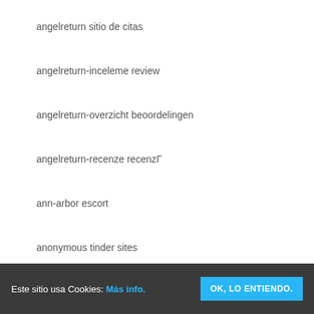angelreturn sitio de citas
angelreturn-inceleme review
angelreturn-overzicht beoordelingen
angelreturn-recenze recenzГ
ann-arbor escort
anonymous tinder sites
antichat pl review
Este sitio usa Cookies: Más info. OK, LO ENTIENDO.